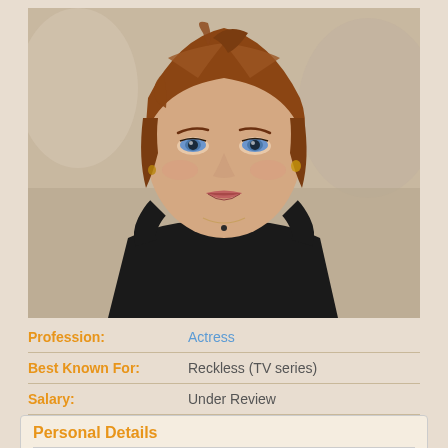[Figure (photo): Portrait photo of a young woman with auburn hair pulled up, blue eyes, wearing a black dress with a small necklace, photographed at what appears to be a red carpet event.]
| Profession: | Actress |
| Best Known For: | Reckless (TV series) |
| Salary: | Under Review |
| Net Worth: | Under Review |
Personal Details